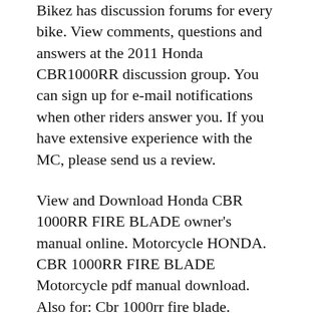Bikez has discussion forums for every bike. View comments, questions and answers at the 2011 Honda CBR1000RR discussion group. You can sign up for e-mail notifications when other riders answer you. If you have extensive experience with the MC, please send us a review.
View and Download Honda CBR 1000RR FIRE BLADE owner's manual online. Motorcycle HONDA. CBR 1000RR FIRE BLADE Motorcycle pdf manual download. Also for: Cbr 1000rr fire blade. 06/10/2015 · WORKSHOP MANUAL 01 06. honda cbr1000rr owners manual honda cbr 1000rr honda cbr1000rr 2006 battery. I have front and rear wheel for a cbr1000rr for sale 250 obo Closed weekends Brand new hard cover Haynes Service and Repair Manual for '04 to '07